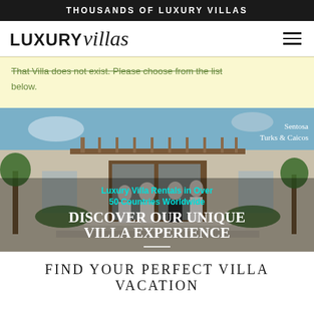THOUSANDS OF LUXURY VILLAS
[Figure (logo): Luxury Villas logo with uppercase LUXURY in bold sans-serif and 'villas' in italic serif script, with hamburger menu icon on right]
That Villa does not exist. Please choose from the list below.
[Figure (photo): Hero image of a luxury villa exterior with staff members standing on steps, palm trees on sides, pergola roof, white facade with large glass doors. Text overlay: 'Luxury Villa Rentals in Over 50 Countries Worldwide' and 'DISCOVER OUR UNIQUE VILLA EXPERIENCE'. Location label: Sentosa, Turks & Caicos]
FIND YOUR PERFECT VILLA VACATION